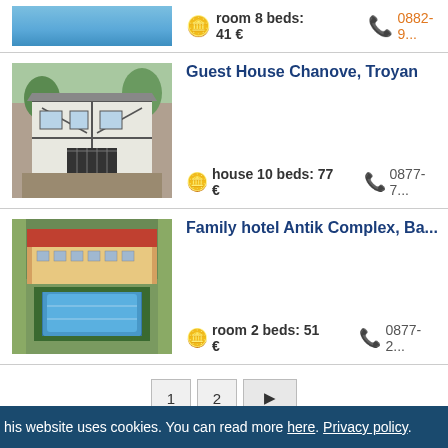[Figure (photo): Partial blue sky/pool image at top (cropped listing)]
room 8 beds: 41 €
0882-9...
[Figure (photo): Guest house with white timber-framed facade and iron gate]
Guest House Chanove, Troyan
house 10 beds: 77 €
0877-7...
[Figure (photo): Aerial view of Family hotel Antik Complex with pool and grounds]
Family hotel Antik Complex, Ba...
room 2 beds: 51 €
0877-2...
1  2  ▶
his website uses cookies. You can read more here. Privacy policy.